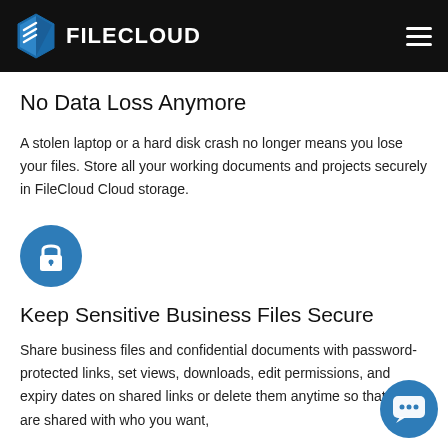FILECLOUD
No Data Loss Anymore
A stolen laptop or a hard disk crash no longer means you lose your files. Store all your working documents and projects securely in FileCloud Cloud storage.
[Figure (illustration): Blue circular icon with a white padlock symbol]
Keep Sensitive Business Files Secure
Share business files and confidential documents with password-protected links, set views, downloads, edit permissions, and expiry dates on shared links or delete them anytime so that files are shared with who you want,